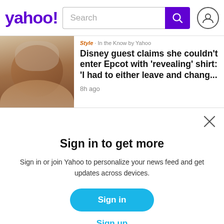yahoo! Search
[Figure (photo): Photo of a young woman with dark hair looking to camera]
Style  In the Know by Yahoo
Disney guest claims she couldn't enter Epcot with 'revealing' shirt: 'I had to either leave and chang...
8h ago
Sign in to get more
Sign in or join Yahoo to personalize your news feed and get updates across devices.
Sign in
Sign up